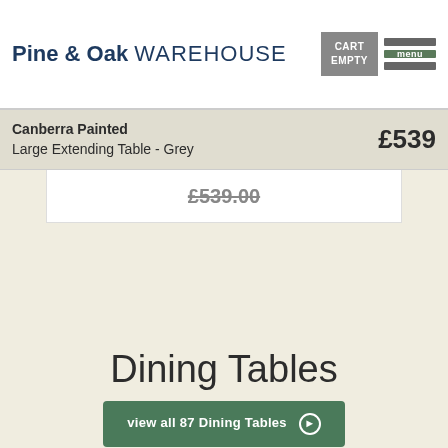Pine & Oak WAREHOUSE
CART EMPTY
menu
Canberra Painted Large Extending Table - Grey £539
£539.00
Dining Tables
view all 87 Dining Tables